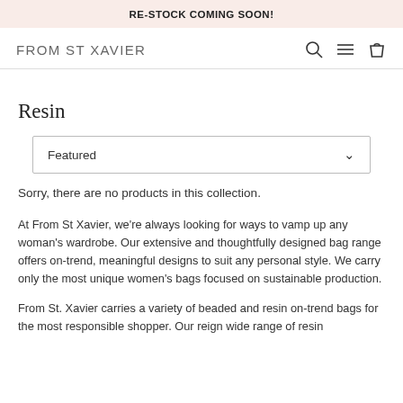RE-STOCK COMING SOON!
FROM ST XAVIER
Resin
Featured
Sorry, there are no products in this collection.
At From St Xavier, we're always looking for ways to vamp up any woman's wardrobe. Our extensive and thoughtfully designed bag range offers on-trend, meaningful designs to suit any personal style. We carry only the most unique women's bags focused on sustainable production.
From St. Xavier carries a variety of beaded and resin on-trend bags for the most responsible shopper. Our reign wide range of resin...